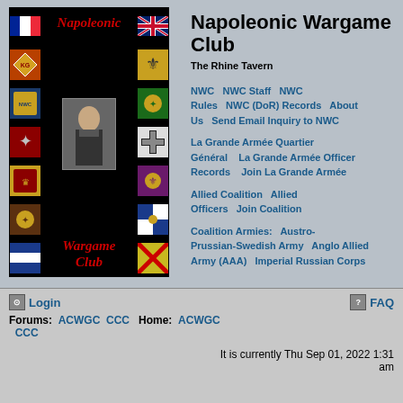[Figure (illustration): Napoleonic Wargame Club banner image with black background, showing flags and emblems in two side columns, a central portrait of Napoleon, and red italic text reading 'Napoleonic Wargame Club']
Napoleonic Wargame Club
The Rhine Tavern
NWC   NWC Staff   NWC Rules   NWC (DoR) Records   About Us   Send Email Inquiry to NWC
La Grande Armée Quartier Général   La Grande Armée Officer Records   Join La Grande Armée
Allied Coalition   Allied Officers   Join Coalition
Coalition Armies:   Austro-Prussian-Swedish Army   Anglo Allied Army (AAA)   Imperial Russian Corps
Login
FAQ
Forums:  ACWGC  CCC  Home:  ACWGC  CCC
It is currently Thu Sep 01, 2022 1:31 am